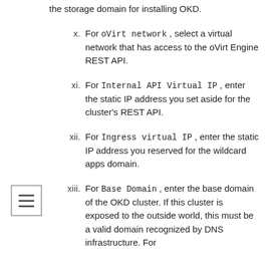the storage domain for installing OKD.
x. For oVirt network, select a virtual network that has access to the oVirt Engine REST API.
xi. For Internal API Virtual IP, enter the static IP address you set aside for the cluster's REST API.
xii. For Ingress virtual IP, enter the static IP address you reserved for the wildcard apps domain.
xiii. For Base Domain, enter the base domain of the OKD cluster. If this cluster is exposed to the outside world, this must be a valid domain recognized by DNS infrastructure. For